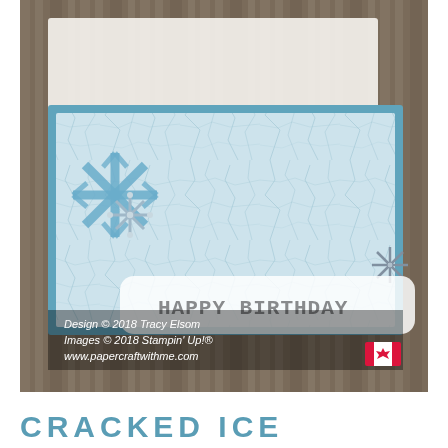[Figure (photo): Photograph of a handmade birthday card with cracked ice stamp pattern background in light blue/teal, snowflake embellishments, a white banner reading HAPPY BIRTHDAY in gray letters, set on a wooden background. A second card/envelope is visible behind. Copyright watermark overlay reads: Design © 2018 Tracy Elsom / Images © 2018 Stampin' Up!® / www.papercraftwithme.com with a Canadian flag icon.]
CRACKED ICE